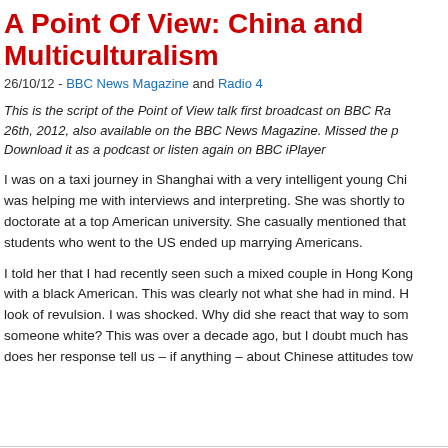A Point Of View: China and Multiculturalism
26/10/12 - BBC News Magazine and Radio 4
This is the script of the Point of View talk first broadcast on BBC Radio 4 on October 26th, 2012, also available on the BBC News Magazine. Missed the programme? Download it as a podcast or listen again on BBC iPlayer
I was on a taxi journey in Shanghai with a very intelligent young Chi... was helping me with interviews and interpreting. She was shortly to doctorate at a top American university. She casually mentioned that students who went to the US ended up marrying Americans.
I told her that I had recently seen such a mixed couple in Hong Kong... with a black American. This was clearly not what she had in mind. H... look of revulsion. I was shocked. Why did she react that way to som... someone white? This was over a decade ago, but I doubt much has... does her response tell us – if anything – about Chinese attitudes tow...